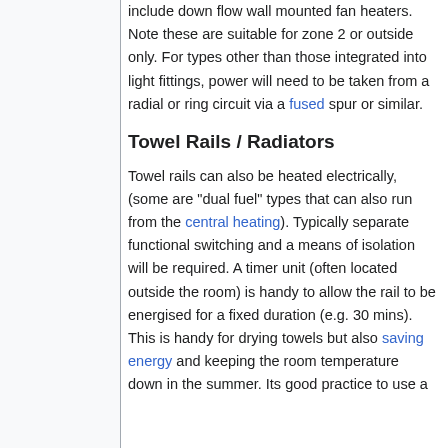include down flow wall mounted fan heaters. Note these are suitable for zone 2 or outside only. For types other than those integrated into light fittings, power will need to be taken from a radial or ring circuit via a fused spur or similar.
Towel Rails / Radiators
Towel rails can also be heated electrically, (some are "dual fuel" types that can also run from the central heating). Typically separate functional switching and a means of isolation will be required. A timer unit (often located outside the room) is handy to allow the rail to be energised for a fixed duration (e.g. 30 mins). This is handy for drying towels but also saving energy and keeping the room temperature down in the summer. Its good practice to use a